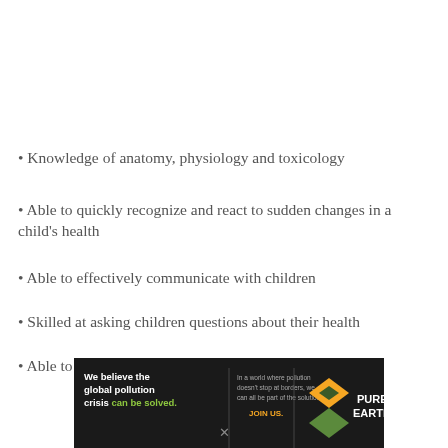• Knowledge of anatomy, physiology and toxicology
• Able to quickly recognize and react to sudden changes in a child's health
• Able to effectively communicate with children
• Skilled at asking children questions about their health
• Able to develop health promotion strategies for
[Figure (other): Advertisement banner for Pure Earth organization about global pollution crisis]